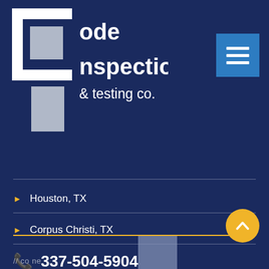[Figure (logo): Code Inspection & Testing Co. logo - white C and I letterforms with gray rectangles on dark navy background]
[Figure (other): Blue hamburger/menu button with three white horizontal bars]
Houston, TX
Corpus Christi, TX
337-504-5904
info@codeitc.com
[Figure (other): Yellow circular back-to-top button with upward chevron arrow]